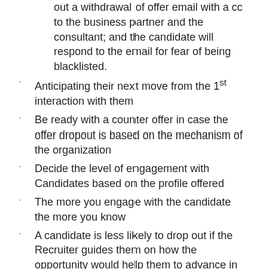out a withdrawal of offer email with a cc to the business partner and the consultant; and the candidate will respond to the email for fear of being blacklisted.
Anticipating their next move from the 1st interaction with them
Be ready with a counter offer in case the offer dropout is based on the mechanism of the organization
Decide the level of engagement with Candidates based on the profile offered
The more you engage with the candidate the more you know
A candidate is less likely to drop out if the Recruiter guides them on how the opportunity would help them to advance in their career which goes a long way in building trust.
Counter offers are usually compensation based but post offer